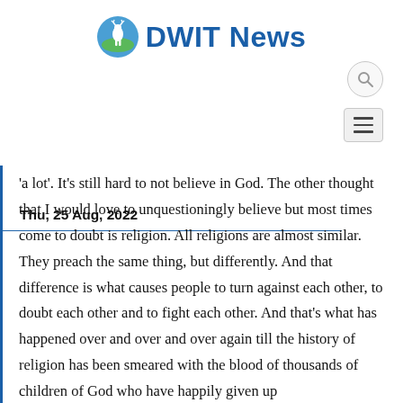DWIT News
Thu, 25 Aug, 2022
'a lot'. It's still hard to not believe in God. The other thought that I would love to unquestioningly believe but most times come to doubt is religion. All religions are almost similar. They preach the same thing, but differently. And that difference is what causes people to turn against each other, to doubt each other and to fight each other. And that's what has happened over and over and over again till the history of religion has been smeared with the blood of thousands of children of God who have happily given up